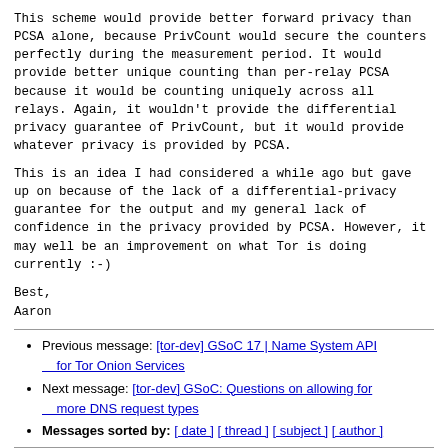This scheme would provide better forward privacy than PCSA alone, because PrivCount would secure the counters perfectly during the measurement period. It would provide better unique counting than per-relay PCSA because it would be counting uniquely across all relays. Again, it wouldn't provide the differential privacy guarantee of PrivCount, but it would provide whatever privacy is provided by PCSA.
This is an idea I had considered a while ago but gave up on because of the lack of a differential-privacy guarantee for the output and my general lack of confidence in the privacy provided by PCSA. However, it may well be an improvement on what Tor is doing currently :-)
Best,
Aaron
Previous message: [tor-dev] GSoC 17 | Name System API for Tor Onion Services
Next message: [tor-dev] GSoC: Questions on allowing for more DNS request types
Messages sorted by: [ date ] [ thread ] [ subject ] [ author ]
More information about the tor-dev mailing list